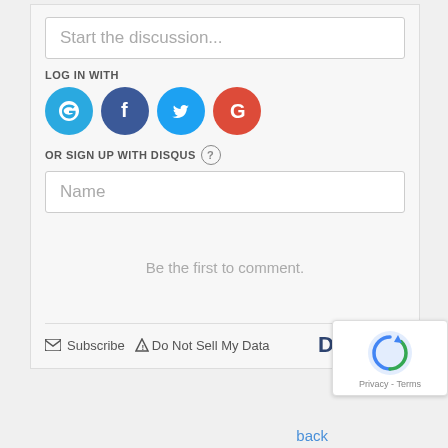Start the discussion...
LOG IN WITH
[Figure (illustration): Social login icons: Disqus (blue circle with D), Facebook (dark blue circle with f), Twitter (light blue circle with bird), Google (red circle with G)]
OR SIGN UP WITH DISQUS ?
Name
Be the first to comment.
Subscribe  Do Not Sell My Data
DISQUS
[Figure (logo): reCAPTCHA badge with blue arrow logo]
Privacy - Terms
back